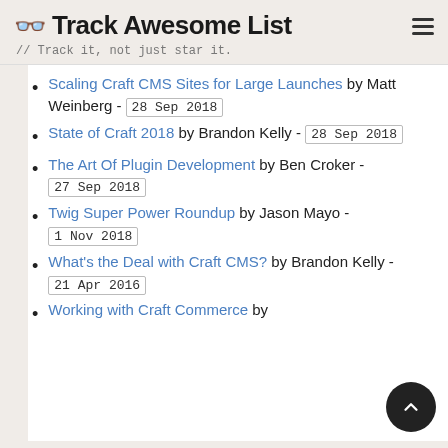Track Awesome List // Track it, not just star it.
Scaling Craft CMS Sites for Large Launches by Matt Weinberg - 28 Sep 2018
State of Craft 2018 by Brandon Kelly - 28 Sep 2018
The Art Of Plugin Development by Ben Croker - 27 Sep 2018
Twig Super Power Roundup by Jason Mayo - 1 Nov 2018
What's the Deal with Craft CMS? by Brandon Kelly - 21 Apr 2016
Working with Craft Commerce by